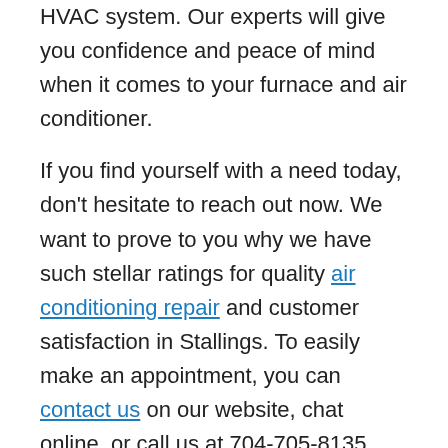HVAC system. Our experts will give you confidence and peace of mind when it comes to your furnace and air conditioner.
If you find yourself with a need today, don't hesitate to reach out now. We want to prove to you why we have such stellar ratings for quality air conditioning repair and customer satisfaction in Stallings. To easily make an appointment, you can contact us on our website, chat online, or call us at 704-705-8135. With one conversation, we'll show you why you can be comfortable and confident in your decision to work with us. Find out today what your friends and neighbors in Stallings have already found: You can rely on Komfort Air.